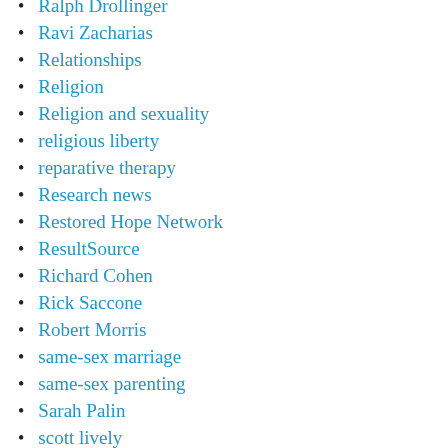Ralph Drollinger
Ravi Zacharias
Relationships
Religion
Religion and sexuality
religious liberty
reparative therapy
Research news
Restored Hope Network
ResultSource
Richard Cohen
Rick Saccone
Robert Morris
same-sex marriage
same-sex parenting
Sarah Palin
scott lively